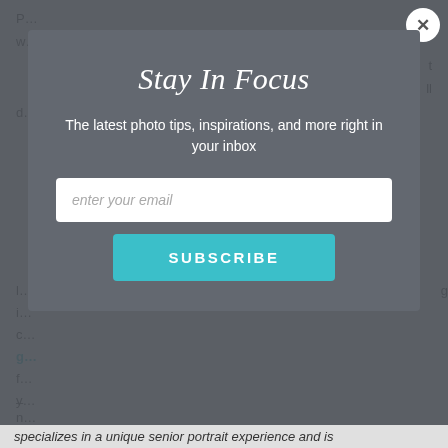P…
w…
w…t
s…ll
d…
l…
i…
c…
g…
f…g
y…
–
n…
[Figure (screenshot): Modal popup dialog with dark gray background. Title reads 'Stay In Focus' in white script/italic font. Subtitle text: 'The latest photo tips, inspirations, and more right in your inbox'. Below is a white email input field with placeholder 'enter your email', and a teal SUBSCRIBE button. A white circular close button with X is in the top right corner of the modal.]
Stay In Focus
The latest photo tips, inspirations, and more right in your inbox
specializes in a unique senior portrait experience and is